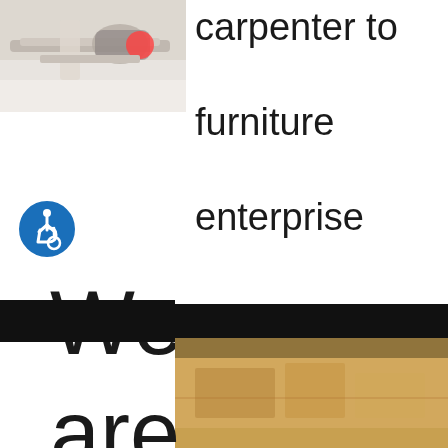[Figure (photo): Person using a circular saw or power tool on wood, carpentry workshop scene]
carpenter to furniture enterprise
[Figure (illustration): International Symbol of Access / wheelchair accessibility icon, blue circle with white wheelchair user symbol]
We are